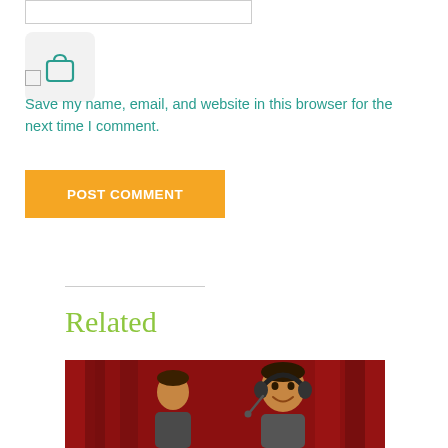[Figure (screenshot): Input text field box, partially visible, white with grey border]
[Figure (logo): Shopping bag icon in teal/green color inside a light grey rounded rectangle card]
Save my name, email, and website in this browser for the next time I comment.
[Figure (screenshot): Orange button labeled POST COMMENT in white bold text]
Related
[Figure (photo): Two children in front of a red curtain background; one wearing headphones and smiling]